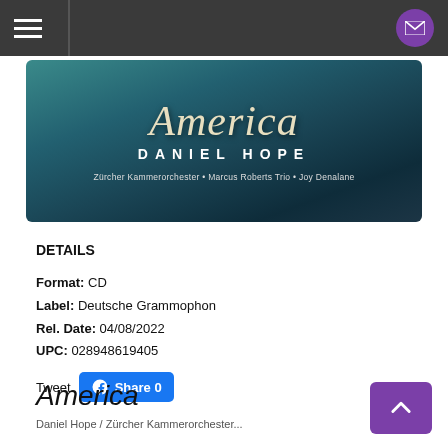[Figure (photo): Album cover for 'America' by Daniel Hope featuring Zürcher Kammerorchester, Marcus Roberts Trio, Joy Denalane. Teal/dark blue background with script 'America' title and artist details.]
DETAILS
Format: CD
Label: Deutsche Grammophon
Rel. Date: 04/08/2022
UPC: 028948619405
Tweet
Share 0
America
Daniel Hope / Zürcher Kammerorchester...